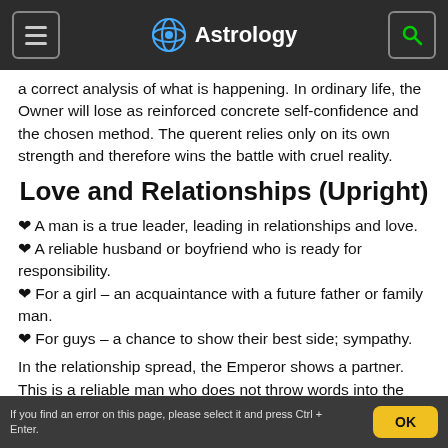Astrology
a correct analysis of what is happening. In ordinary life, the Owner will lose as reinforced concrete self-confidence and the chosen method. The querent relies only on its own strength and therefore wins the battle with cruel reality.
Love and Relationships (Upright)
❤ A man is a true leader, leading in relationships and love.
❤ A reliable husband or boyfriend who is ready for responsibility.
❤ For a girl – an acquaintance with a future father or family man.
❤ For guys – a chance to show their best side; sympathy.
In the relationship spread, the Emperor shows a partner. This is a reliable man who does not throw words into the
If you find an error on this page, please select it and press Ctrl + Enter.